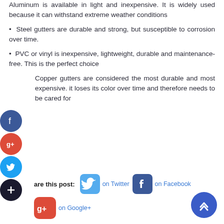Aluminum is available in light and inexpensive. It is widely used because it can withstand extreme weather conditions
Steel gutters are durable and strong, but susceptible to corrosion over time.
PVC or vinyl is inexpensive, lightweight, durable and maintenance-free. This is the perfect choice
Copper gutters are considered the most durable and most expensive. it loses its color over time and therefore needs to be cared for
Share this post: on Twitter  on Facebook  on Google+